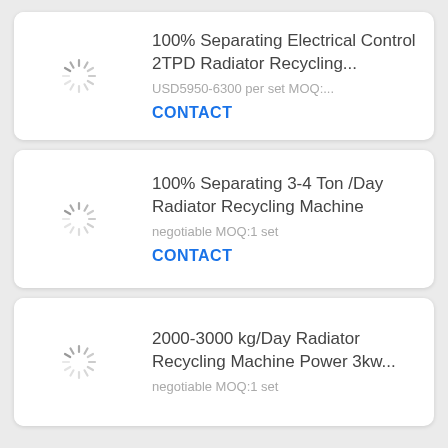100% Separating Electrical Control 2TPD Radiator Recycling...
USD5950-6300 per set MOQ:...
CONTACT
100% Separating 3-4 Ton /Day Radiator Recycling Machine
negotiable MOQ:1 set
CONTACT
2000-3000 kg/Day Radiator Recycling Machine Power 3kw...
negotiable MOQ:1 set